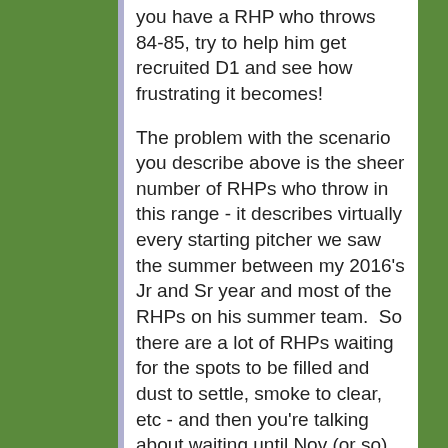you have a RHP who throws 84-85, try to help him get recruited D1 and see how frustrating it becomes!
The problem with the scenario you describe above is the sheer number of RHPs who throw in this range - it describes virtually every starting pitcher we saw the summer between my 2016's Jr and Sr year and most of the RHPs on his summer team.  So there are a lot of RHPs waiting for the spots to be filled and dust to settle, smoke to clear, etc - and then you're talking about waiting until Nov (or so) of Sr. year to find a spot with most likely a preferred walk-on spot at best to a D1.  And that assumes that out of the colleges you